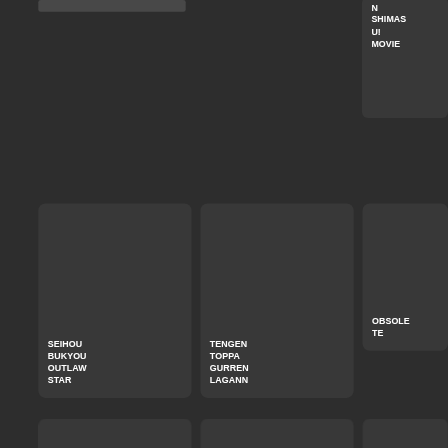[Figure (screenshot): Dark themed mobile app grid showing anime/media titles as cards. Partial card top-right showing text ending in 'N SHIMASU! MOVIE'. Middle row: SEIHOU BUKYOU OUTLAW STAR, TENGEN TOPPA GURREN LAGANN, OBSOLETE. Bottom row (partially visible): MUV-LUV ALTERNATIVE, TSURITAMA, TOMICA KIZUNA GATTAI: EARTH (truncated).]